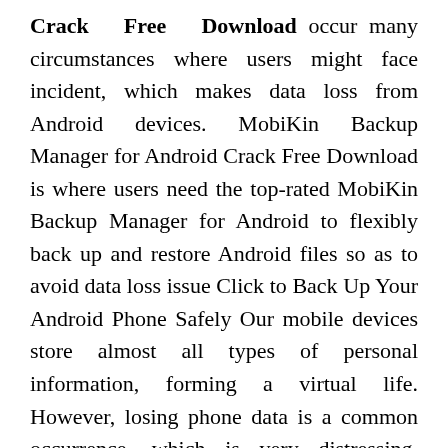Crack Free Download occur many circumstances where users might face incident, which makes data loss from Android devices. MobiKin Backup Manager for Android Crack Free Download is where users need the top-rated MobiKin Backup Manager for Android to flexibly back up and restore Android files so as to avoid data loss issue Click to Back Up Your Android Phone Safely Our mobile devices store almost all types of personal information, forming a virtual life. However, losing phone data is a common occurrence, which is very distressing. Therefore, we must immediately back up our Android phone to prevent this disaster. With the help of MobiKin Backup Manager for Android, it is easy to create